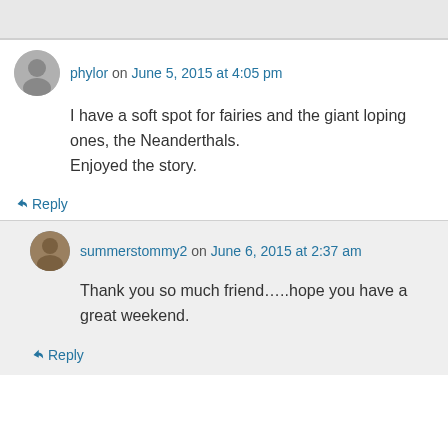phylor on June 5, 2015 at 4:05 pm
I have a soft spot for fairies and the giant loping ones, the Neanderthals.
Enjoyed the story.
↳ Reply
summerstommy2 on June 6, 2015 at 2:37 am
Thank you so much friend…..hope you have a great weekend.
↳ Reply